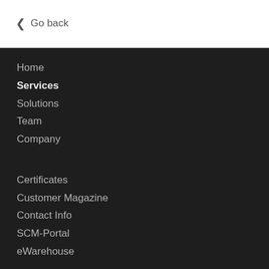❮ Go back
Home
Services
Solutions
Team
Company
Certificates
Customer Magazine
Contact Info
SCM-Portal
eWarehouse
We use cookies to ensure that we give you the best experience on our website. More information
I ACCEPT